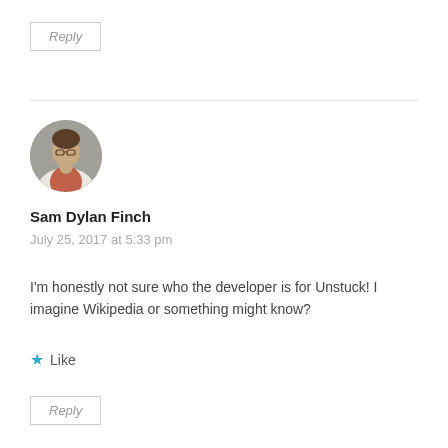Reply
[Figure (photo): Circular avatar photo of Sam Dylan Finch, a person wearing a light jacket and rust-colored shirt]
Sam Dylan Finch
July 25, 2017 at 5:33 pm
I'm honestly not sure who the developer is for Unstuck! I imagine Wikipedia or something might know?
Like
Reply